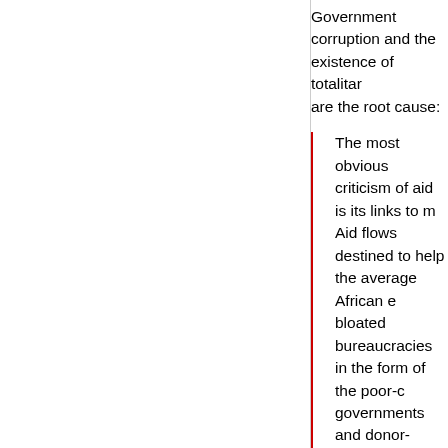Government corruption and the existence of totalitar... are the root cause:
The most obvious criticism of aid is its links to m... Aid flows destined to help the average African e... bloated bureaucracies in the form of the poor-c... governments and donor-funded non-governmen...
The article lists many disturbing examples of corrupti... urge everybody to read them all. Unfortunately there... without copy-and-pasting the entire article.
On a side note, does anyone remember the One Lap... campaign? Yuck. The Dalhousie University student n... recently had an opinion editorial on the campaign an...
I imagine that brightly coloured laptops sit in a s... Africa and slowly collect dust as the days pass.... owns them cannot secure power to recharge th... broken dreams of a grand philanthropist idea th... to revolutionize the world.